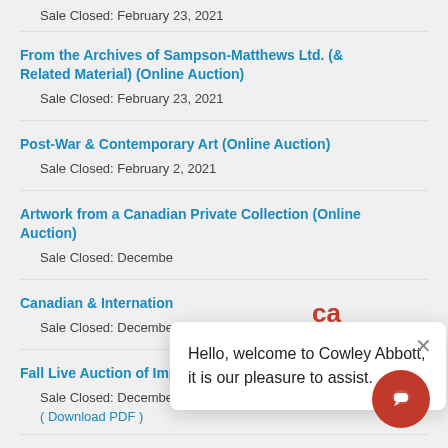Sale Closed: February 23, 2021
From the Archives of Sampson-Matthews Ltd. (& Related Material) (Online Auction)
Sale Closed: February 23, 2021
Post-War & Contemporary Art (Online Auction)
Sale Closed: February 2, 2021
Artwork from a Canadian Private Collection (Online Auction)
Sale Closed: December [partially obscured]
Canadian & International [partially obscured]
Sale Closed: December [partially obscured]
Fall Live Auction of Important Canadian Art
Sale Closed: December 3, 2020
( Download PDF )
Canadian & International Art (Online Auction) [partially visible]
[Figure (other): Chat widget overlay with Cowley Abbott logo and greeting: Hello, welcome to Cowley Abbott, it is our pleasure to assist. Red circular chat button at bottom right.]